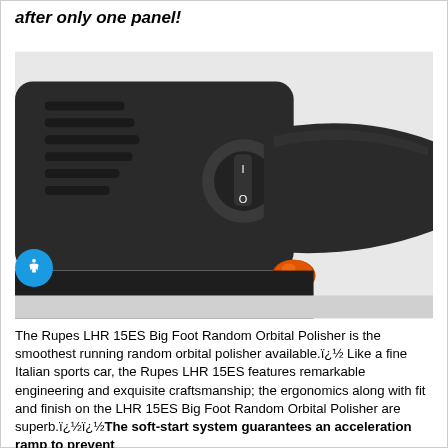after only one panel!
[Figure (photo): Close-up photo of the Rupes LHR 15ES Big Foot Random Orbital Polisher, showing the black body with ventilation slots, a rocker switch, and an orange button on the handle.]
The Rupes LHR 15ES Big Foot Random Orbital Polisher is the smoothest running random orbital polisher available.ï¿½ Like a fine Italian sports car, the Rupes LHR 15ES features remarkable engineering and exquisite craftsmanship; the ergonomics along with fit and finish on the LHR 15ES Big Foot Random Orbital Polisher are superb.ï¿½ï¿½The soft-start system guarantees an acceleration ramp to prevent